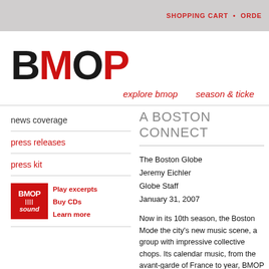SHOPPING CART • ORDE
[Figure (logo): BMOP logo in large bold text, B and O in dark/black, M and P in red]
explore bmop    season & ticke
news coverage
press releases
press kit
[Figure (logo): BMOP sound logo - red box with BMOP sound text]
Play excerpts
Buy CDs
Learn more
A BOSTON CONNECT
The Boston Globe
Jeremy Eichler
Globe Staff
January 31, 2007
Now in its 10th season, the Boston Mode the city's new music scene, a group with impressive collective chops. Its calendar music, from the avant-garde of France to year, BMOP tunes its questing ears to the composers, or at least those with local tie program took place Saturday night in Jor was well-attended by an audience refresh
Part of BMOP's image comes from its slee